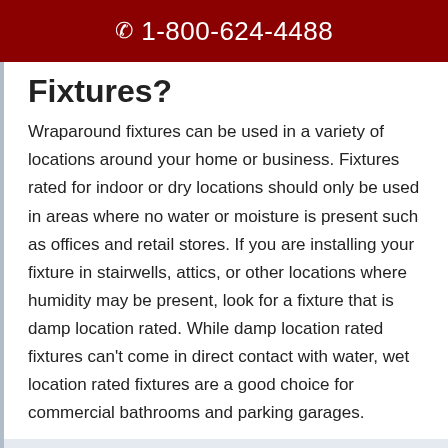☎ 1-800-624-4488
Fixtures?
Wraparound fixtures can be used in a variety of locations around your home or business. Fixtures rated for indoor or dry locations should only be used in areas where no water or moisture is present such as offices and retail stores. If you are installing your fixture in stairwells, attics, or other locations where humidity may be present, look for a fixture that is damp location rated. While damp location rated fixtures can't come in direct contact with water, wet location rated fixtures are a good choice for commercial bathrooms and parking garages.
This website stores data such as cookies to enable essential site functionality, as well as marketing, personalization, and analytics. By remaining on this website you indicate your consent. Privacy Policy